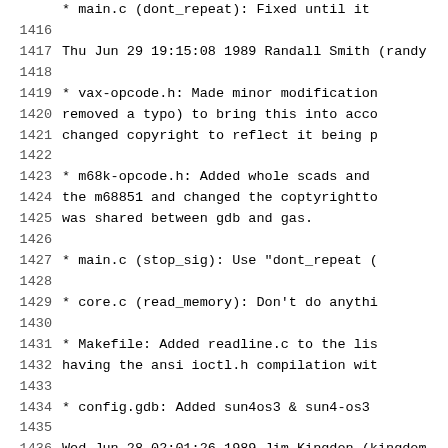* main.c (dont_repeat): Fixed until it
1416
1417  Thu Jun 29 19:15:08 1989  Randall Smith  (randy
1418
1419        * vax-opcode.h: Made minor modification
1420        removed a typo) to bring this into acco
1421        changed copyright to reflect it being p
1422
1423        * m68k-opcode.h: Added whole scads and
1424        the m68851 and changed the copytightto
1425        was shared between gdb and gas.
1426
1427        * main.c (stop_sig): Use "dont_repeat (
1428
1429        * core.c (read_memory): Don't do anythi
1430
1431        * Makefile: Added readline.c to the lis
1432        having the ansi ioctl.h compilation wit
1433
1434        * config.gdb: Added sun4os3 & sun4-os3
1435
1436  Wed Jun 28 02:01:26 1989  Jim Kingdon  (kingdom